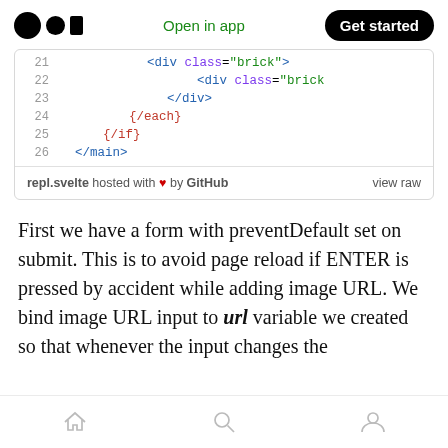Medium — Open in app | Get started
[Figure (screenshot): Code block showing lines 21-26 of a Svelte template file (repl.svelte) hosted on GitHub. Lines show HTML with class='brick' divs, {/each}, {/if}, and </main> tags.]
First we have a form with preventDefault set on submit. This is to avoid page reload if ENTER is pressed by accident while adding image URL. We bind image URL input to url variable we created so that whenever the input changes the
Home | Search | Profile